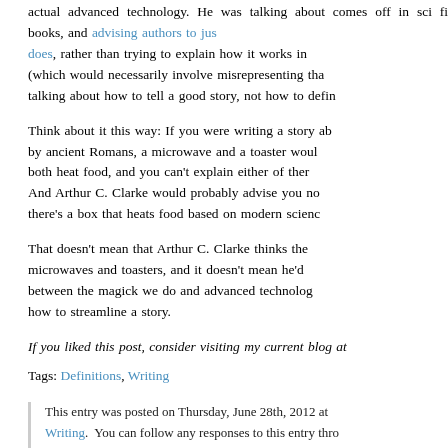actual advanced technology. He was talking about comes off in sci fi books, and advising authors to just does, rather than trying to explain how it works in (which would necessarily involve misrepresenting tha talking about how to tell a good story, not how to defin
Think about it this way: If you were writing a story ab by ancient Romans, a microwave and a toaster woul both heat food, and you can't explain either of the And Arthur C. Clarke would probably advise you no there's a box that heats food based on modern scienc
That doesn't mean that Arthur C. Clarke thinks the microwaves and toasters, and it doesn't mean he'd between the magick we do and advanced technolog how to streamline a story.
If you liked this post, consider visiting my current blog at
Tags: Definitions, Writing
This entry was posted on Thursday, June 28th, 2012 at Writing. You can follow any responses to this entry thro can leave a response, or trackback from your own site.